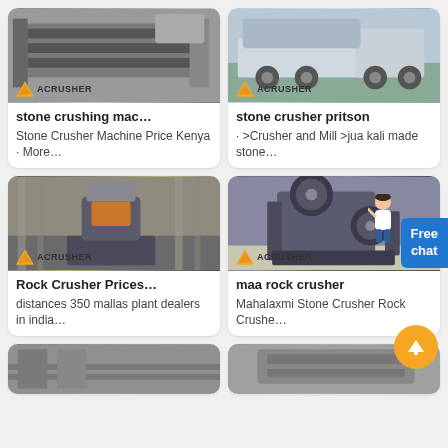[Figure (photo): Stone crushing machine / vibrating screen in industrial facility with ACRUSHER branding]
stone crushing mac…
Stone Crusher Machine Price Kenya · More…
[Figure (photo): Mobile stone crusher on truck with ACRUSHER branding]
stone crusher pritson
· >Crusher and Mill >jua kali made stone…
[Figure (photo): Large cone crusher machine in factory with ACRUSHER branding]
Rock Crusher Prices…
distances 350 mallas plant dealers in india…
[Figure (photo): Jaw crusher machine in factory floor with ACRUSHER branding]
maa rock crusher
Mahalaxmi Stone Crusher Rock Crushe…
[Figure (photo): Stone crusher equipment partial view bottom left]
[Figure (photo): Stone crusher equipment partial view bottom right]